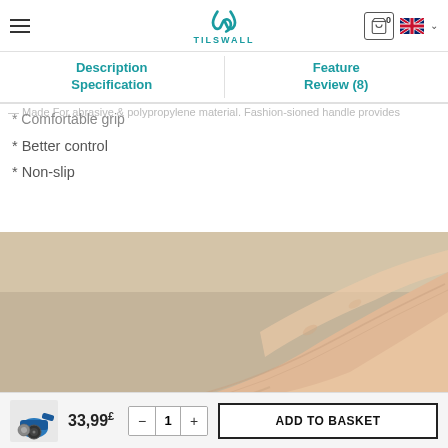Ergonomic & Textured Handle (Newly Designed)
Description Specification
Feature Review (8)
— Made For abrasive & polypropylene material. Fashion-ioned handle provides
* Comfortable grip
* Better control
* Non-slip
[Figure (photo): Close-up photo of a human wrist/palm against a beige background]
33,99£  - 1 + ADD TO BASKET